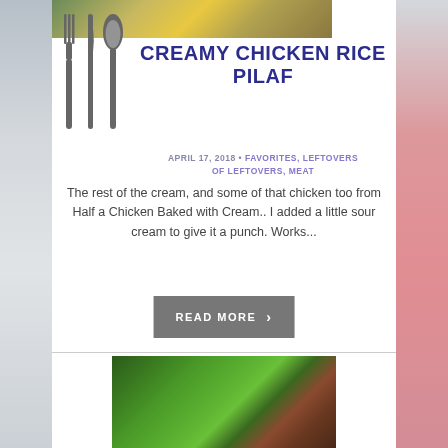[Figure (photo): Partial top food photo showing what appears to be a dish with yellow/green garnish]
[Figure (illustration): Cutlery icon showing a fork, knife, and spoon in dark gray]
CREAMY CHICKEN RICE PILAF
APRIL 17, 2018 • FAVORITES, LEFTOVERS OF LEFTOVERS, MEAT
The rest of the cream, and some of that chicken too from Half a Chicken Baked with Cream.. I added a little sour cream to give it a punch. Works...
READ MORE ›
[Figure (photo): Food photo showing what appears to be stuffed green cabbage or lettuce rolls on a dark surface]